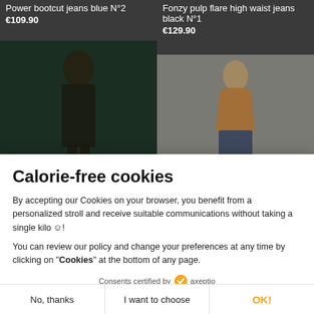Power bootcut jeans blue N°2
€109.90
Fonzy pulp flare high waist jeans black N°1
€129.90
[Figure (photo): Model wearing dark jacket and jeans on dark background]
[Figure (photo): Model wearing orange top and jeans on grey background with heart icon]
Calorie-free cookies
By accepting our Cookies on your browser, you benefit from a personalized stroll and receive suitable communications without taking a single kilo ☺!
You can review our policy and change your preferences at any time by clicking on "Cookies" at the bottom of any page.
Consents certified by axeptio
No, thanks
I want to choose
OK!